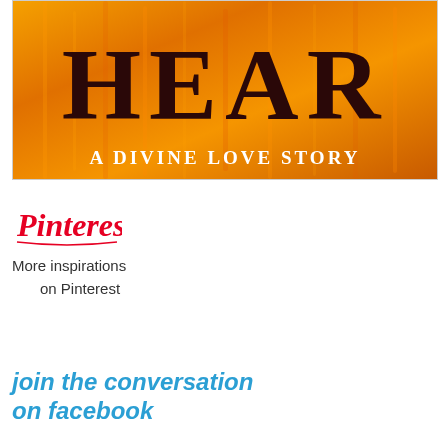[Figure (illustration): Book cover image with orange flame background. Large dark text reads 'HEAR' at the top, and white text below reads 'A DIVINE LOVE STORY']
[Figure (logo): Pinterest logo in red cursive lettering]
More inspirations on Pinterest
join the conversation on facebook